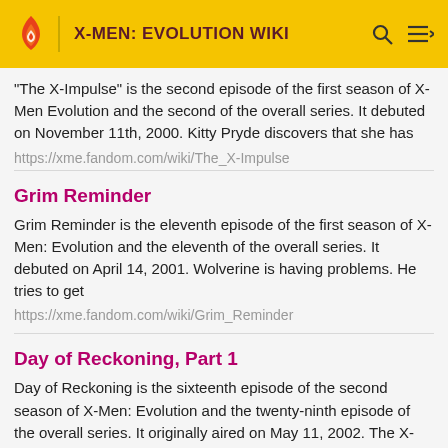X-MEN: EVOLUTION WIKI
"The X-Impulse" is the second episode of the first season of X-Men Evolution and the second of the overall series. It debuted on November 11th, 2000. Kitty Pryde discovers that she has
https://xme.fandom.com/wiki/The_X-Impulse
Grim Reminder
Grim Reminder is the eleventh episode of the first season of X-Men: Evolution and the eleventh of the overall series. It debuted on April 14, 2001. Wolverine is having problems. He tries to get
https://xme.fandom.com/wiki/Grim_Reminder
Day of Reckoning, Part 1
Day of Reckoning is the sixteenth episode of the second season of X-Men: Evolution and the twenty-ninth episode of the overall series. It originally aired on May 11, 2002. The X-Men are
https://xme.fandom.com/wiki/Day_of_Reckoning,_Part_1